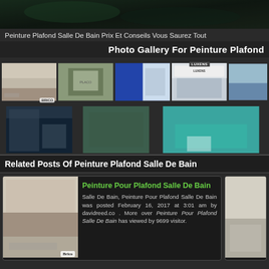[Figure (photo): Dark green architectural ceiling/interior photo banner]
Peinture Plafond Salle De Bain Prix Et Conseils Vous Saurez Tout
Photo Gallery For Peinture Plafond
[Figure (photo): Gallery grid of 8 bathroom ceiling paint photos and paint cans]
Related Posts Of Peinture Plafond Salle De Bain
[Figure (photo): Related post card: Peinture Pour Plafond Salle De Bain with ceiling photo and green title]
Salle De Bain, Peinture Pour Plafond Salle De Bain was posted February 16, 2017 at 3:01 am by davidreed.co . More over Peinture Pour Plafond Salle De Bain has viewed by 9699 visitor.